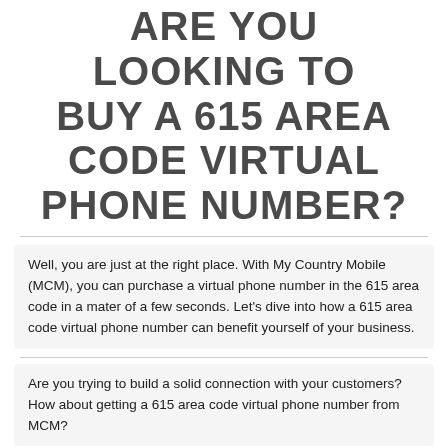ARE YOU LOOKING TO BUY A 615 AREA CODE VIRTUAL PHONE NUMBER?
Well, you are just at the right place. With My Country Mobile (MCM), you can purchase a virtual phone number in the 615 area code in a mater of a few seconds. Let's dive into how a 615 area code virtual phone number can benefit yourself of your business.
[Figure (illustration): A phone app interface showing a contact list with call icons and a globe icon at the bottom, styled in blue tones.]
Are you trying to build a solid connection with your customers? How about getting a 615 area code virtual phone number from MCM?